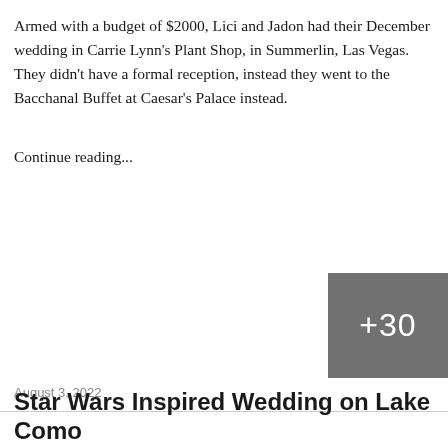Armed with a budget of $2000, Lici and Jadon had their December wedding in Carrie Lynn's Plant Shop, in Summerlin, Las Vegas. They didn't have a formal reception, instead they went to the Bacchanal Buffet at Caesar's Palace instead.
Continue reading...
[Figure (other): Gray overlay box showing +30 photo count indicator]
August 3, 2022
Star Wars Inspired Wedding on Lake Como